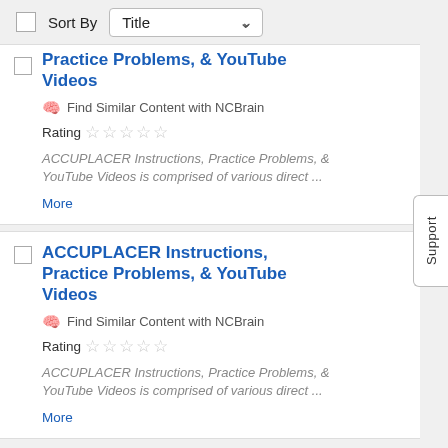Sort By  Title
ACCUPLACER Instructions, Practice Problems, & YouTube Videos
Find Similar Content with NCBrain
Rating (5 stars empty)
ACCUPLACER Instructions, Practice Problems, & YouTube Videos is comprised of various direct ...
More
ACCUPLACER Instructions, Practice Problems, & YouTube Videos
Find Similar Content with NCBrain
Rating (5 stars empty)
ACCUPLACER Instructions, Practice Problems, & YouTube Videos is comprised of various direct ...
More